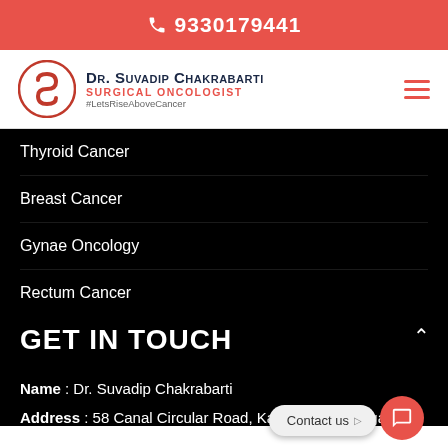9330179441
[Figure (logo): Dr. Suvadip Chakrabarti Surgical Oncologist logo with red S-shaped symbol, name in dark navy small-caps, subtitle SURGICAL ONCOLOGIST in red, hashtag #LetsRiseAboveCancer]
Thyroid Cancer
Breast Cancer
Gynae Oncology
Rectum Cancer
GET IN TOUCH
Name : Dr. Suvadip Chakrabarti
Address : 58 Canal Circular Road, Kadapara, Kakurgachi,